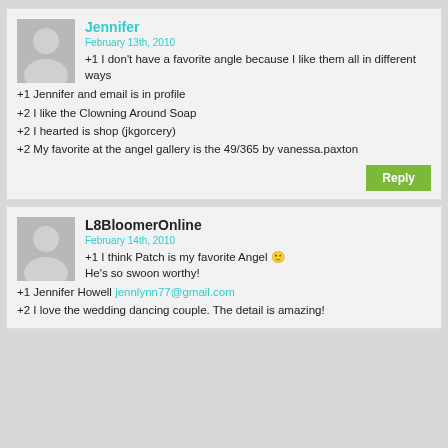[Figure (illustration): User avatar placeholder for Jennifer comment]
Jennifer
February 13th, 2010
+1 I don't have a favorite angle because I like them all in different ways
+1 Jennifer and email is in profile
+2 I like the Clowning Around Soap
+2 I hearted is shop (jkgorcery)
+2 My favorite at the angel gallery is the 49/365 by vanessa.paxton
Reply
[Figure (illustration): User avatar placeholder for L8BloomerOnline comment]
L8BloomerOnline
February 14th, 2010
+1 I think Patch is my favorite Angel 🙂 He's so swoon worthy!
+1 Jennifer Howell jennlynn77@gmail.com
+2 I love the wedding dancing couple. The detail is amazing!